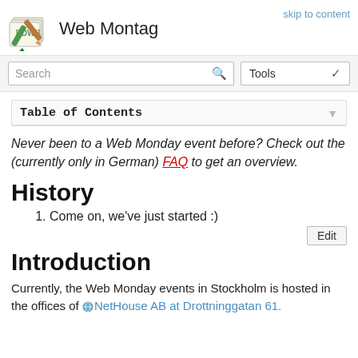Web Montag
skip to content
Table of Contents
Never been to a Web Monday event before? Check out the (currently only in German) FAQ to get an overview.
History
1. Come on, we've just started :)
Introduction
Currently, the Web Monday events in Stockholm is hosted in the offices of NetHouse AB at Drottninggatan 61.